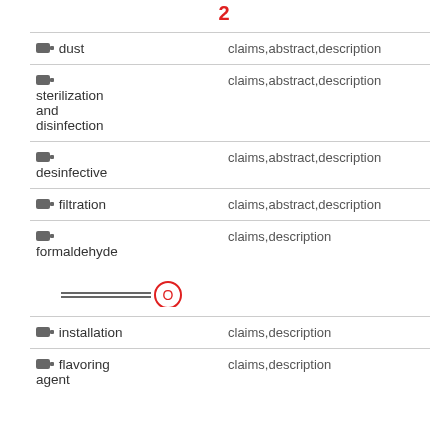2
| Keyword | Source |
| --- | --- |
| dust | claims,abstract,description |
| sterilization and disinfection | claims,abstract,description |
| desinfective | claims,abstract,description |
| filtration | claims,abstract,description |
| formaldehyde | claims,description |
| installation | claims,description |
| flavoring agent | claims,description |